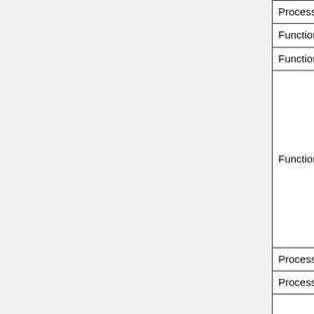|  |  |  |
| --- | --- | --- |
| Process | GO:0009072 | acid family metabolic process |
| Function | GO:0016491 | oxidoreductase activity |
| Function | GO:0016597 | amino acid binding |
| Function | GO:0016714 | oxidoreductase activity, acting on paired donors, with incorporation or reduction of molecular oxygen, reduced pteridine as one donor, and incorporation of one atom of oxygen |
| Process | GO:0018126 | protein hydroxylation |
| Process | GO:0034641 | cellular nitrogen compound metabolic process |
|  |  | neurotransmitter |